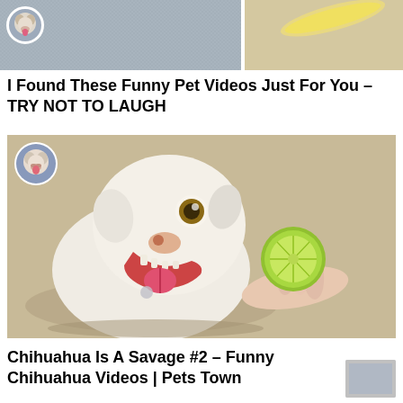[Figure (photo): Top thumbnail strip showing two video thumbnails side by side. Left thumbnail has a dog avatar icon in top left corner with gray background. Right thumbnail shows a banana on light background.]
I Found These Funny Pet Videos Just For You – TRY NOT TO LAUGH
[Figure (photo): Main video thumbnail showing a white Chihuahua dog with mouth open and tongue out, reacting to a lime being held by a person with blue polished nails. Avatar icon of a bulldog is in the top left corner of the thumbnail.]
Chihuahua Is A Savage #2 – Funny Chihuahua Videos | Pets Town